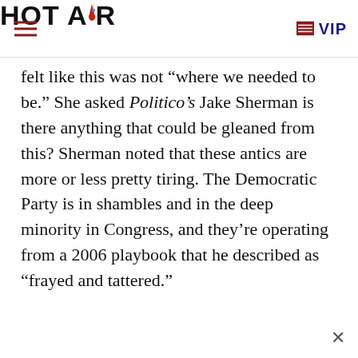HOT AIR  VIP
felt like this was not “where we needed to be.” She asked Politico’s Jake Sherman is there anything that could be gleaned from this? Sherman noted that these antics are more or less pretty tiring. The Democratic Party is in shambles and in the deep minority in Congress, and they’re operating from a 2006 playbook that he described as “frayed and tattered.”